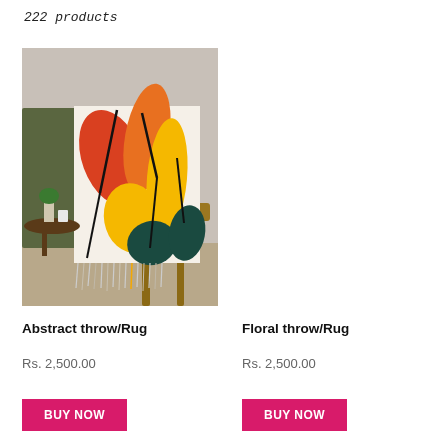222 products
[Figure (photo): Abstract throw/rug with bold floral pattern in orange, red, yellow and dark teal colors, draped over a wooden chair. Fringe edges visible at bottom. A small side table with plants and cups is in the background.]
Abstract throw/Rug
Rs. 2,500.00
BUY NOW
Floral throw/Rug
Rs. 2,500.00
BUY NOW